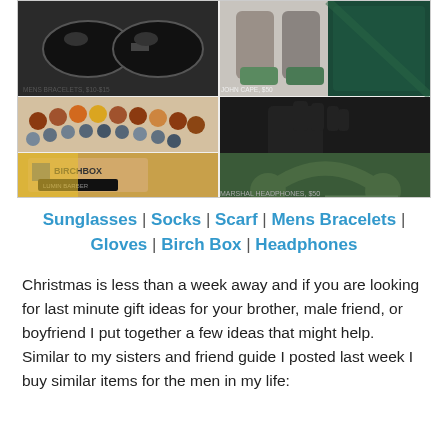[Figure (photo): A collage of gift items for men: sunglasses, socks, scarf, mens beaded bracelets, black touchscreen gloves, Birchbox subscription box, green Marshall headphones]
Sunglasses | Socks | Scarf | Mens Bracelets | Gloves | Birch Box | Headphones
Christmas is less than a week away and if you are looking for last minute gift ideas for your brother, male friend, or boyfriend I put together a few ideas that might help. Similar to my sisters and friend guide I posted last week I buy similar items for the men in my life: